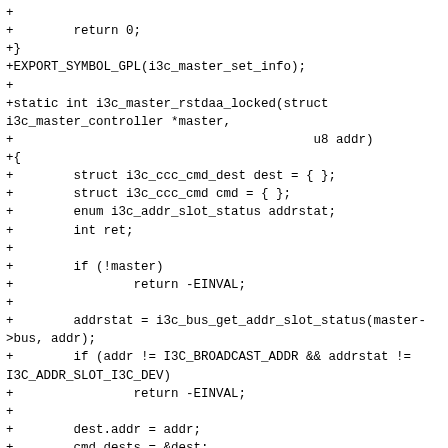+
+        return 0;
+}
+EXPORT_SYMBOL_GPL(i3c_master_set_info);
+
+static int i3c_master_rstdaa_locked(struct i3c_master_controller *master,
+                                        u8 addr)
+{
+        struct i3c_ccc_cmd_dest dest = { };
+        struct i3c_ccc_cmd cmd = { };
+        enum i3c_addr_slot_status addrstat;
+        int ret;
+
+        if (!master)
+                return -EINVAL;
+
+        addrstat = i3c_bus_get_addr_slot_status(master->bus, addr);
+        if (addr != I3C_BROADCAST_ADDR && addrstat != I3C_ADDR_SLOT_I3C_DEV)
+                return -EINVAL;
+
+        dest.addr = addr;
+        cmd.dests = &dest;
+        cmd.ndests = 1;
+        cmd.rnw = false;
+        cmd.id = I3C_CCC_RSTDAA(addr == I3C_BROADCAST_ADDR);
+